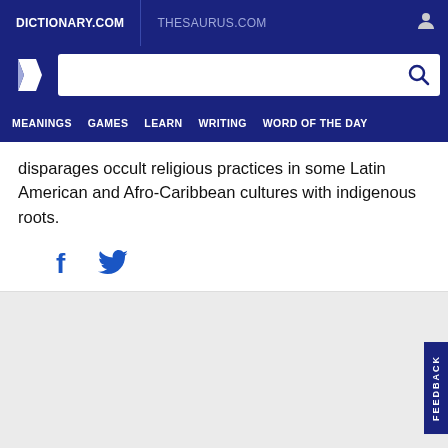DICTIONARY.COM | THESAURUS.COM
[Figure (screenshot): Dictionary.com logo and search bar with navigation menu including MEANINGS, GAMES, LEARN, WRITING, WORD OF THE DAY]
disparages occult religious practices in some Latin American and Afro-Caribbean cultures with indigenous roots.
[Figure (illustration): Facebook and Twitter social share icons]